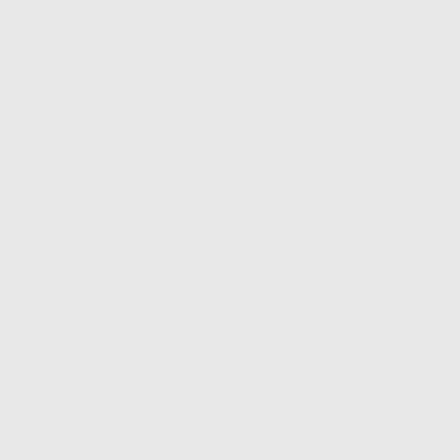Can wash the balm from * … The breath of worldly men … The deputy elected by the L…
* So folio : quartos,
But the lower world may si…
That this is the sense of the passa…
“ So, when this thief, this tra…
“ Who all this while hath re…
“ Whilst we were wand’ring…
“ Shall see us rising in our t…
HENLEY. There is no necessi… relate to the nearest antecedent, g… and the writers of his day, than th…
5 He fires the proud tops of th… beautiful than this, in any poet, w…
• The breath of worldly men, &… terms; but our poet did not learn … whose opinions are regulated by…
For every man that Bolingb… To lift shrewd steel agains…